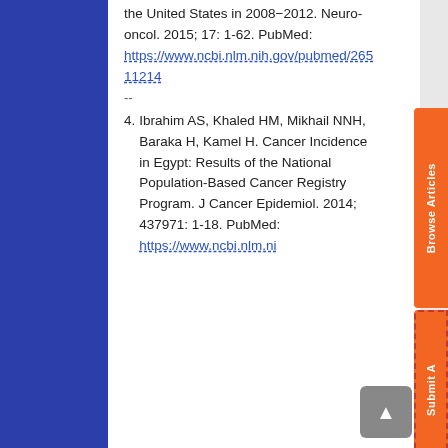the United States in 2008-2012. Neuro-oncol. 2015; 17: 1-62. PubMed: https://www.ncbi.nlm.nih.gov/pubmed/26511214 --
4. Ibrahim AS, Khaled HM, Mikhail NNH, Baraka H, Kamel H. Cancer Incidence in Egypt: Results of the National Population-Based Cancer Registry Program. J Cancer Epidemiol. 2014; 437971: 1-18. PubMed: https://www.ncbi.nlm.ni